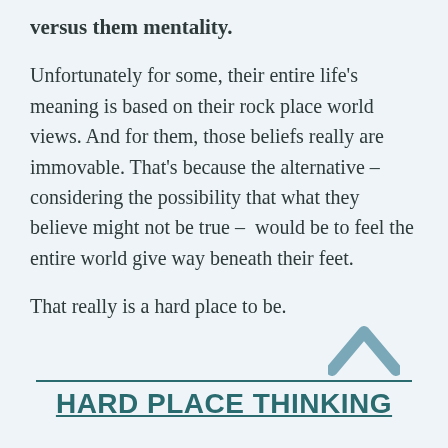versus them mentality.
Unfortunately for some, their entire life’s meaning is based on their rock place world views. And for them, those beliefs really are immovable. That’s because the alternative – considering the possibility that what they believe might not be true –  would be to feel the entire world give way beneath their feet.
That really is a hard place to be.
[Figure (illustration): A teal/grey upward-pointing chevron caret symbol in the bottom right area]
HARD PLACE THINKING